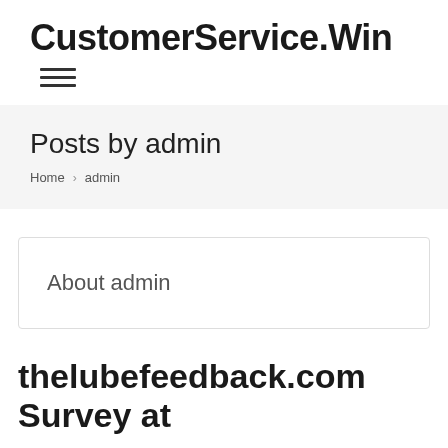CustomerService.Win
Posts by admin
Home  admin
About admin
thelubefeedback.com Survey at...